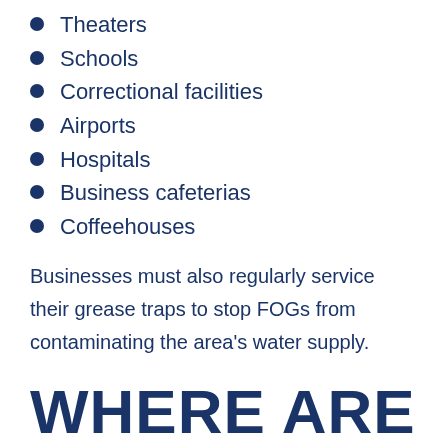Theaters
Schools
Correctional facilities
Airports
Hospitals
Business cafeterias
Coffeehouses
Businesses must also regularly service their grease traps to stop FOGs from contaminating the area's water supply.
WHERE ARE GREASE TRAPS LOCATED?